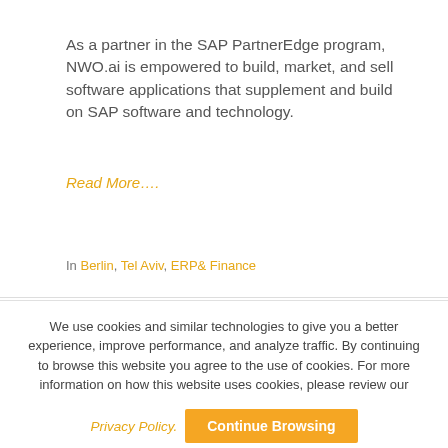As a partner in the SAP PartnerEdge program, NWO.ai is empowered to build, market, and sell software applications that supplement and build on SAP software and technology.
Read More…
In Berlin, Tel Aviv, ERP & Finance
We use cookies and similar technologies to give you a better experience, improve performance, and analyze traffic. By continuing to browse this website you agree to the use of cookies. For more information on how this website uses cookies, please review our
Privacy Policy.  Continue Browsing